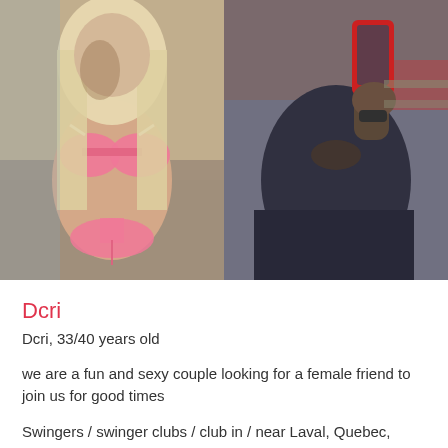[Figure (photo): Two photos side by side: left photo shows a woman in a pink bikini with long blonde hair, right photo shows a person taking a mirror selfie wearing dark clothing.]
Dcri
Dcri, 33/40 years old
we are a fun and sexy couple looking for a female friend to join us for good times
Swingers / swinger clubs / club in / near Laval, Quebec, Canada